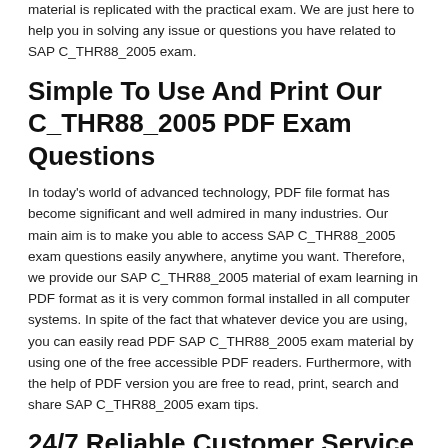material is replicated with the practical exam. We are just here to help you in solving any issue or questions you have related to SAP C_THR88_2005 exam.
Simple To Use And Print Our C_THR88_2005 PDF Exam Questions
In today's world of advanced technology, PDF file format has become significant and well admired in many industries. Our main aim is to make you able to access SAP C_THR88_2005 exam questions easily anywhere, anytime you want. Therefore, we provide our SAP C_THR88_2005 material of exam learning in PDF format as it is very common formal installed in all computer systems. In spite of the fact that whatever device you are using, you can easily read PDF SAP C_THR88_2005 exam material by using one of the free accessible PDF readers. Furthermore, with the help of PDF version you are free to read, print, search and share SAP C_THR88_2005 exam tips.
24/7 Reliable Customer Service For SAP C_THR88_2005 Exam User